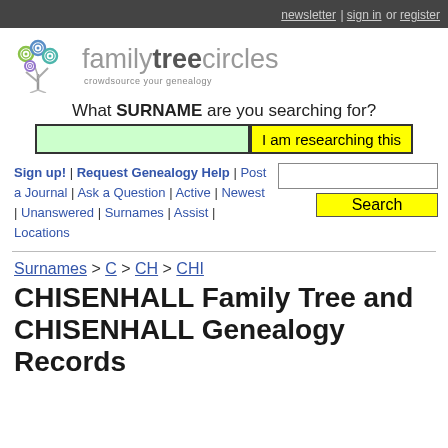newsletter | sign in or register
[Figure (logo): Family Tree Circles logo with colorful spiral tree icon and text 'familytreecircles - crowdsource your genealogy']
What SURNAME are you searching for?
Sign up! | Request Genealogy Help | Post a Journal | Ask a Question | Active | Newest | Unanswered | Surnames | Assist | Locations
Surnames > C > CH > CHI
CHISENHALL Family Tree and CHISENHALL Genealogy Records